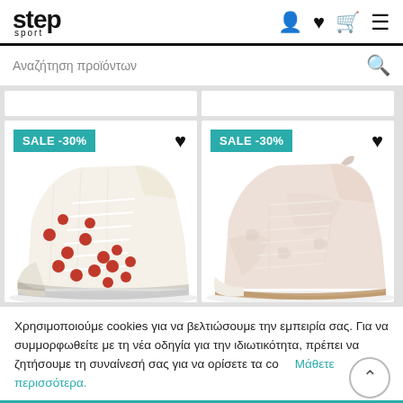[Figure (logo): Step Sport logo - bold black text]
Αναζήτηση προϊόντων
[Figure (photo): Converse-style high-top sneaker with red polka dots on white, with SALE -30% badge]
[Figure (photo): Light pink/beige high-top suede sneaker with SALE -30% badge]
Χρησιμοποιούμε cookies για να βελτιώσουμε την εμπειρία σας. Για να συμμορφωθείτε με τη νέα οδηγία για την ιδιωτικότητα, πρέπει να ζητήσουμε τη συναίνεσή σας για να ορίσετε τα cookies. Μάθετε περισσότερα.
Αποδοχή Cookies